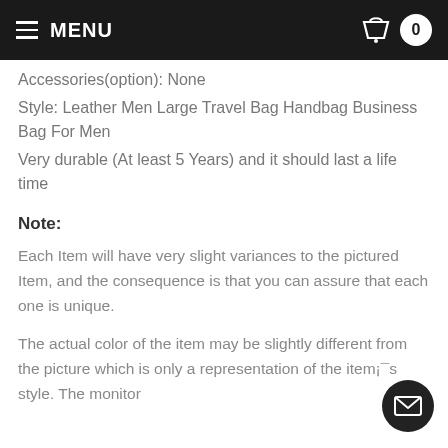MENU | 0
Accessories(option): None
Style: Leather Men Large Travel Bag Handbag Business Bag For Men
Very durable (At least 5 Years) and it should last a life time
Note:
Each Item will have very slight variances to the pictured Item, and the consequence is that you can assure that each one is unique.
The actual color of the item may be slightly different from the picture which is only a representation of the item¡¯s style. The monitor